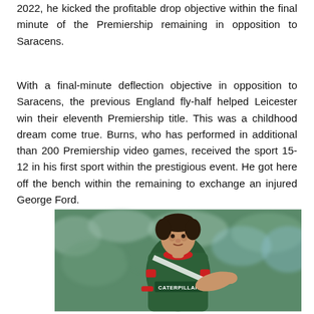2022, he kicked the profitable drop objective within the final minute of the Premiership remaining in opposition to Saracens.
With a final-minute deflection objective in opposition to Saracens, the previous England fly-half helped Leicester win their eleventh Premiership title. This was a childhood dream come true. Burns, who has performed in additional than 200 Premiership video games, received the sport 15-12 in his first sport within the prestigious event. He got here off the bench within the remaining to exchange an injured George Ford.
[Figure (photo): A rugby player wearing a green and red Leicester Tigers jersey with CATERPILLAR sponsor text, pointing with his right hand, with a blurred crowd in the background.]